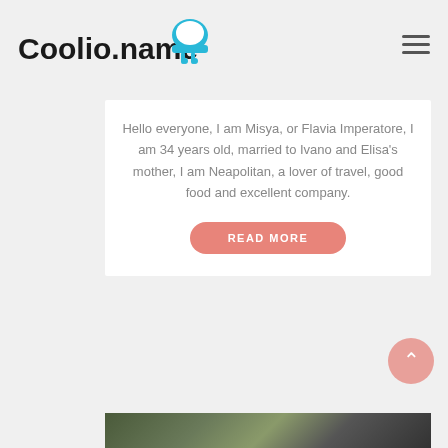Coolio.name
Hello everyone, I am Misya, or Flavia Imperatore, I am 34 years old, married to Ivano and Elisa's mother, I am Neapolitan, a lover of travel, good food and excellent company.
READ MORE
[Figure (photo): Food photo partially visible at the bottom of the page, showing a dish with green leaves/herbs on a dark background]